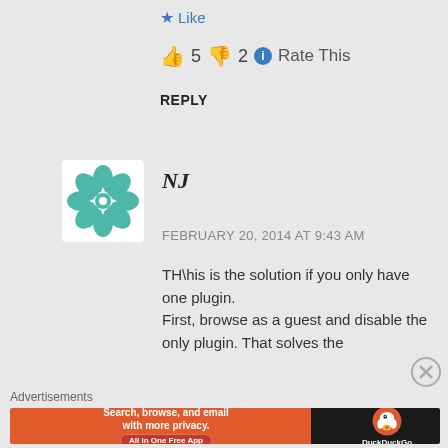★ Like
👍 5 👎 2 ℹ Rate This
REPLY
[Figure (illustration): Decorative avatar icon with teal geometric snowflake/compass rose pattern on white background]
NJ
FEBRUARY 20, 2014 AT 9:43 AM
TH\his is the solution if you only have one plugin. First, browse as a guest and disable the only plugin. That solves the
Advertisements
[Figure (screenshot): DuckDuckGo advertisement banner: orange left side with text 'Search, browse, and email with more privacy. All in One Free App' and dark right side with DuckDuckGo duck logo]